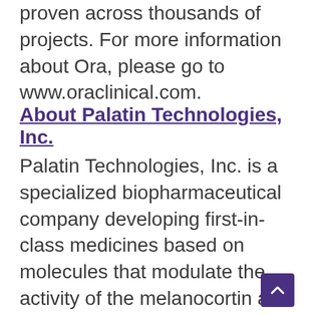proven across thousands of projects. For more information about Ora, please go to www.oraclinical.com.
About Palatin Technologies, Inc.
Palatin Technologies, Inc. is a specialized biopharmaceutical company developing first-in-class medicines based on molecules that modulate the activity of the melanocortin and natriuretic peptide receptor systems, with targeted, receptor-specific product candidates for the treatment of diseases with significant unmet medical need and commercial potential. Palatin's strategy is to develop products and